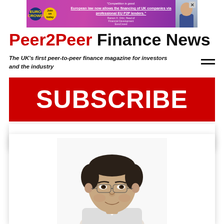[Figure (other): Advertisement banner for EuroCrowd with purple/magenta background showing Euro Crowd logo, 'Join us today' badge, and text about European law allowing financing of UK companies via professional EU P2P lenders.]
Peer2Peer Finance News
The UK's first peer-to-peer finance magazine for investors and the industry
[Figure (other): Red SUBSCRIBE banner button]
[Figure (photo): Portrait photo of a man with dark hair and glasses, wearing a suit, smiling slightly against a white background]